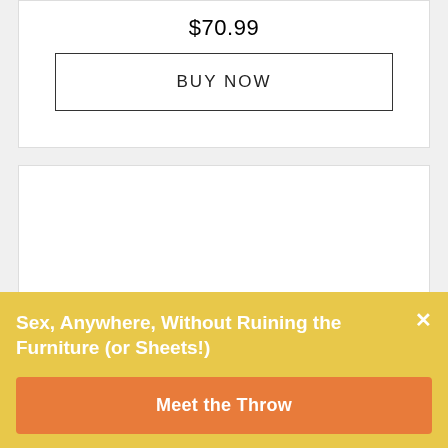$70.99
BUY NOW
[Figure (photo): Product image of a decorative item with black top and ornate gold/beige patterned body]
Sex, Anywhere, Without Ruining the Furniture (or Sheets!)
Meet the Throw